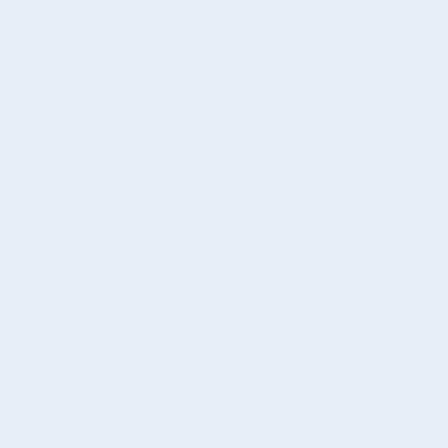| Sr. #. | Item |
| --- | --- |
|  | Tent |
|  | Whea… |
|  | Ghee oil) |
|  | Suga… |
|  | Daal |
|  | Tea |